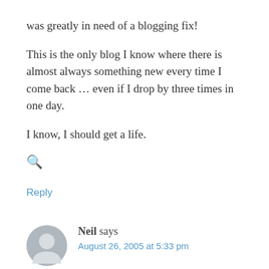was greatly in need of a blogging fix!
This is the only blog I know where there is almost always something new every time I come back ... even if I drop by three times in one day.
I know, I should get a life.
🔍
Reply
Neil says
August 26, 2005 at 5:33 pm
calligischatty... of course your blog is for you